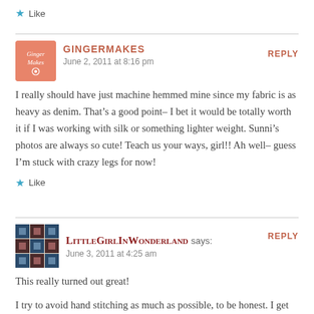Like
GINGERMAKES says: June 2, 2011 at 8:16 pm | REPLY
I really should have just machine hemmed mine since my fabric is as heavy as denim. That’s a good point– I bet it would be totally worth it if I was working with silk or something lighter weight. Sunni’s photos are always so cute! Teach us your ways, girl!! Ah well– guess I’m stuck with crazy legs for now!
Like
LittleGirlInWonderland says: June 3, 2011 at 4:25 am | REPLY
This really turned out great!
I try to avoid hand stitching as much as possible, to be honest. I get really frustrated when a project takes too much of my time, but lately I’ve been working on a skirt that needs a lot of slip stitching. I guess you can’t